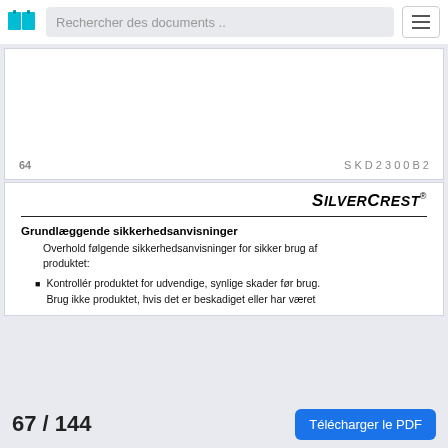Rechercher des documents ..
64    SKD 2300 B2
SILVERCREST®
Grundlæggende sikkerhedsanvisninger
Overhold følgende sikkerhedsanvisninger for sikker brug af produktet:
Kontrollér produktet for udvendige, synlige skader før brug. Brug ikke produktet, hvis det er beskadiget eller har været
67 / 144    Télécharger le PDF